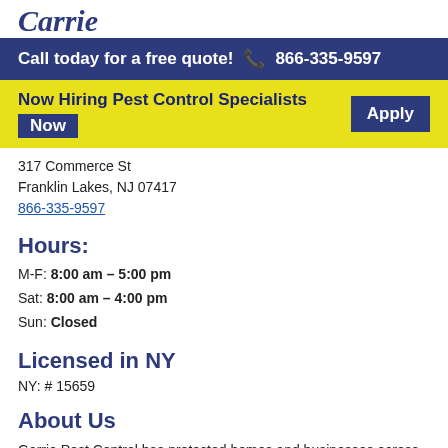Carrie (logo partial)
Call today for a free quote! 866-335-9597
Now Hiring Pest Control Specialists Apply Now
317 Commerce St
Franklin Lakes, NJ 07417
866-335-9597
Hours:
M-F: 8:00 am – 5:00 pm
Sat: 8:00 am – 4:00 pm
Sun: Closed
Licensed in NY
NY: # 15659
About Us
Garrie Pest Control has protected homes and businesses across the state with innovative technology and customized pest management